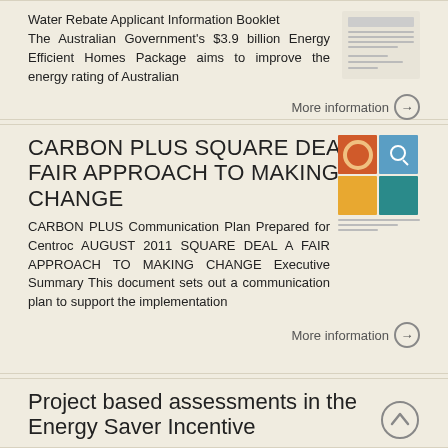Water Rebate Applicant Information Booklet The Australian Government's $3.9 billion Energy Efficient Homes Package aims to improve the energy rating of Australian
More information →
CARBON PLUS SQUARE DEAL A FAIR APPROACH TO MAKING CHANGE
CARBON PLUS Communication Plan Prepared for Centroc AUGUST 2011 SQUARE DEAL A FAIR APPROACH TO MAKING CHANGE Executive Summary This document sets out a communication plan to support the implementation
More information →
Project based assessments in the Energy Saver Incentive